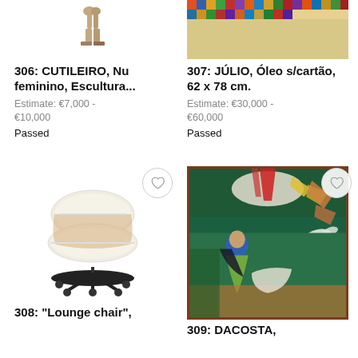[Figure (photo): Sculpture - Nu feminino, partial view of wooden figure legs/base]
306: CUTILEIRO, Nu feminino, Escultura...
Estimate: €7,000 - €10,000
Passed
[Figure (photo): Colorful tapestry or painting partial view at top]
307: JÚLIO, Óleo s/cartão, 62 x 78 cm.
Estimate: €30,000 - €60,000
Passed
[Figure (photo): White Eames-style lounge chair on black base]
308: "Lounge chair",
[Figure (photo): Expressionist painting showing a woman with blue hair in green landscape with white bird/dove, framed in dark reddish-brown]
309: DACOSTA,